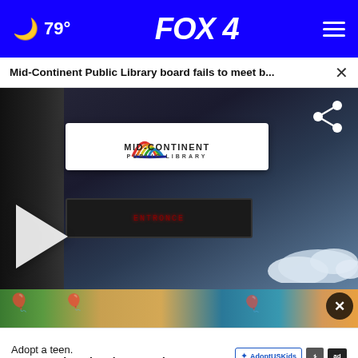🌙 79° FOX 4 ☰
Mid-Continent Public Library board fails to meet b... ×
[Figure (photo): Video thumbnail showing the Mid-Continent Public Library sign with colorful logo, an electronic marquee board below it, a night sky background, a white play button overlay on the left, and a share icon on the upper right.]
[Figure (photo): Advertisement image strip showing children with balloon hats/headbands, with a close (X) button overlay.]
Adopt a teen. You can't imagine the reward.
AdoptUS Kids ad